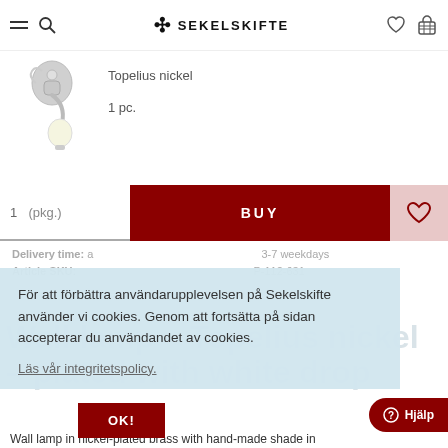Sekelskifte
[Figure (photo): Wall lamp Topelius nickel product thumbnail — a nickel-plated wall sconce with ornate bracket and white drop globe bulb]
Topelius nickel
1 pc.
BUY
Delivery time: a  3-7 weekdays
Article SKU:  P-112-631
För att förbättra användarupplevelsen på Sekelskifte använder vi cookies. Genom att fortsätta på sidan accepterar du användandet av cookies.
Läs vår integritetspolicy.
Wall lamp – Topelius nickel – plated with white drop
Wall lamp in nickel-plated brass with hand-made shade in